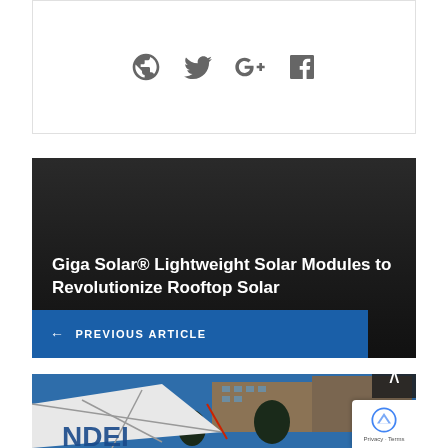[Figure (other): Social media icons row: globe/web icon, Twitter bird icon, Google+ icon, Facebook icon — all in grey]
[Figure (other): Article preview card with dark gradient background. Title text reads 'Giga Solar® Lightweight Solar Modules to Revolutionize Rooftop Solar' in white. Blue 'PREVIOUS ARTICLE' navigation button at bottom.]
[Figure (photo): Partial photo showing what appears to be a building with solar panels, with 'NDEI' or similar text visible. Blue sky in background.]